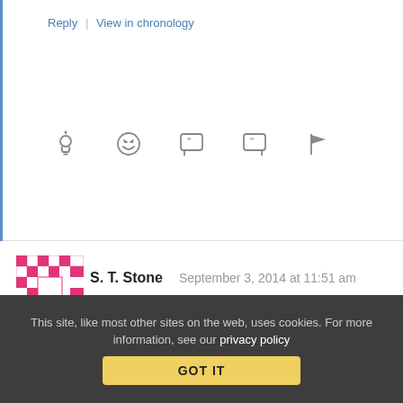Reply | View in chronology
[Figure (other): Row of action icons: lightbulb, laughing emoji, open-quote speech bubble, close-quote speech bubble, flag]
[Figure (other): User avatar for S. T. Stone — pink/magenta geometric mosaic pattern]
S. T. Stone   September 3, 2014 at 11:51 am
Wow.
Wonder if they'll figure out a way to hard-sell cigarettes in prison.
Reply | View in chronology
This site, like most other sites on the web, uses cookies. For more information, see our privacy policy
GOT IT